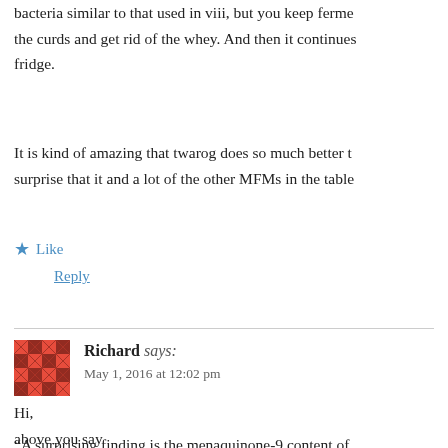bacteria similar to that used in viii, but you keep fermenting the curds and get rid of the whey. And then it continues fridge.
It is kind of amazing that twarog does so much better th surprise that it and a lot of the other MFMs in the table
Like
Reply
Richard says: May 1, 2016 at 12:02 pm
Hi,
above you say
“A surprising finding is the menaquinone-9 content of various countries. Unhelpfully the study in question do were though mesophilic refers to the lower temperatu